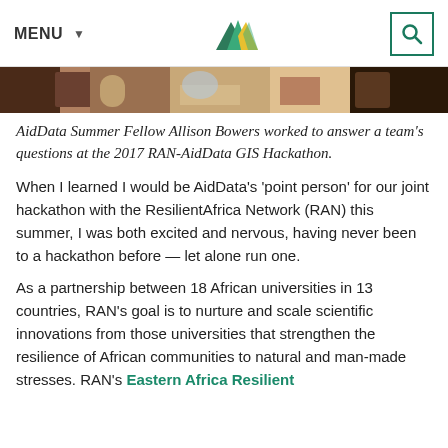MENU  [logo]  [search]
[Figure (photo): Partial view of a desk with objects, top portion of a photo showing a hackathon workspace]
AidData Summer Fellow Allison Bowers worked to answer a team's questions at the 2017 RAN-AidData GIS Hackathon.
When I learned I would be AidData's 'point person' for our joint hackathon with the ResilientAfrica Network (RAN) this summer, I was both excited and nervous, having never been to a hackathon before — let alone run one.
As a partnership between 18 African universities in 13 countries, RAN's goal is to nurture and scale scientific innovations from those universities that strengthen the resilience of African communities to natural and man-made stresses. RAN's Eastern Africa Resilient